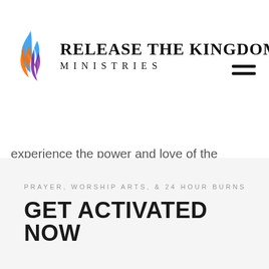[Figure (logo): Flame logo with blue, orange, and purple colors for Release the Kingdom Ministries]
RELEASE THE KINGDOM MINISTRIES
experience the power and love of the Holy Spirit.
PRAYER, WORSHIP ARTS, & 24 HOUR BURNS
GET ACTIVATED NOW